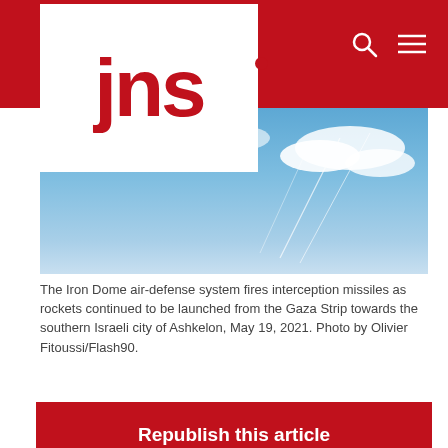JNS (Jewish News Syndicate) website header
[Figure (photo): Sky photo showing Iron Dome interception missiles against a blue sky with white clouds]
The Iron Dome air-defense system fires interception missiles as rockets continued to be launched from the Gaza Strip towards the southern Israeli city of Ashkelon, May 19, 2021. Photo by Olivier Fitoussi/Flash90.
Republish this article
[Figure (infographic): Social sharing icons: Facebook, Twitter, WhatsApp, Email, Print/Share]
(May 19, 2021 / JNS) Rockets hit areas of